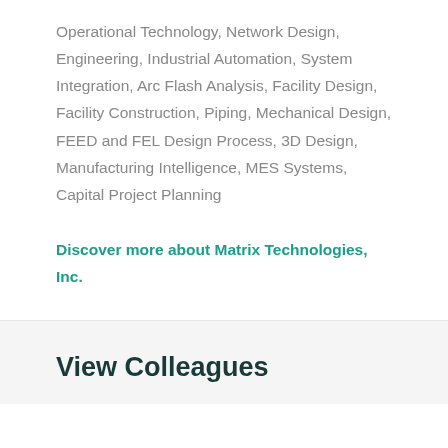Operational Technology, Network Design, Engineering, Industrial Automation, System Integration, Arc Flash Analysis, Facility Design, Facility Construction, Piping, Mechanical Design, FEED and FEL Design Process, 3D Design, Manufacturing Intelligence, MES Systems, Capital Project Planning
Discover more about Matrix Technologies, Inc.
View Colleagues